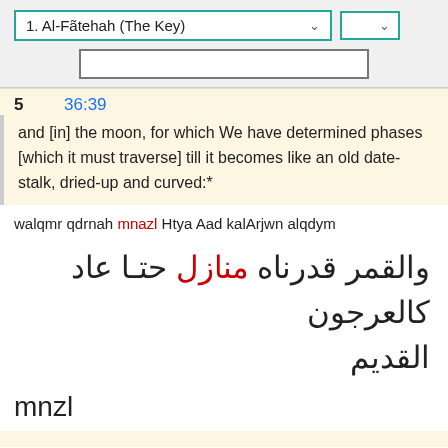1. Al-Fãtehah (The Key)
5   36:39
and [in] the moon, for which We have determined phases [which it must traverse] till it becomes like an old date-stalk, dried-up and curved:*
walqmr qdrnah mnazl Htya Aad kalArjwn alqdym
والقمر قدرناه منازل حتـا عاد كالعرجون القديم
mnzl